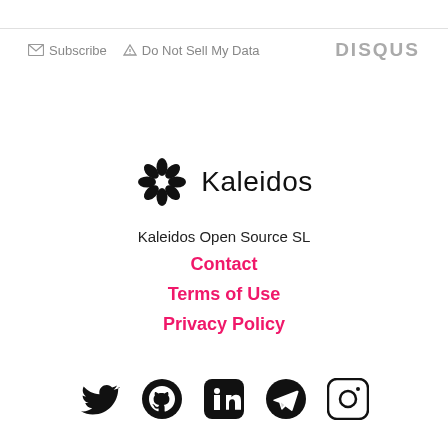Subscribe  Do Not Sell My Data   DISQUS
[Figure (logo): Kaleidos logo: black asterisk/geometric flower shape with text 'Kaleidos' in bold]
Kaleidos Open Source SL
Contact
Terms of Use
Privacy Policy
[Figure (illustration): Social media icons row: Twitter (bird), GitHub (octocat), LinkedIn (in box), Telegram (paper plane), Instagram (camera)]